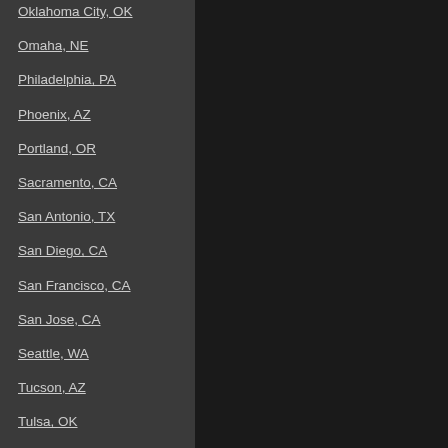Oklahoma City, OK
Omaha, NE
Philadelphia, PA
Phoenix, AZ
Portland, OR
Sacramento, CA
San Antonio, TX
San Diego, CA
San Francisco, CA
San Jose, CA
Seattle, WA
Tucson, AZ
Tulsa, OK
Virginia Beach, VA
Washington, D.C.